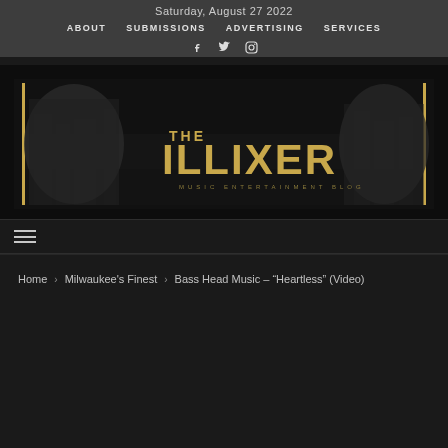Saturday, August 27 2022
ABOUT
SUBMISSIONS
ADVERTISING
SERVICES
[Figure (logo): The Illixer Music Entertainment Blog banner with two hip-hop artists on dark background with gold text reading THE ILLIXER and subtitle MUSIC ENTERTAINMENT BLOG]
≡
Home > Milwaukee's Finest > Bass Head Music – "Heartless" (Video)